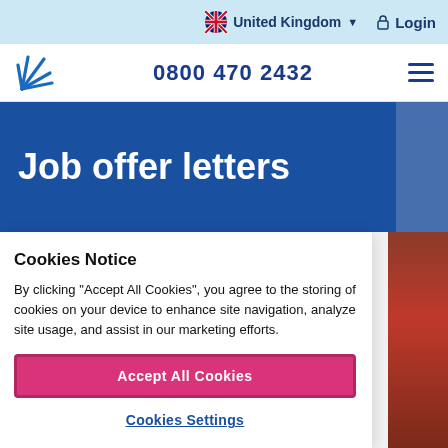United Kingdom   Login
0800 470 2432
Job offer letters
Cookies Notice
By clicking "Accept All Cookies", you agree to the storing of cookies on your device to enhance site navigation, analyze site usage, and assist in our marketing efforts.
Accept All Cookies
Cookies Settings